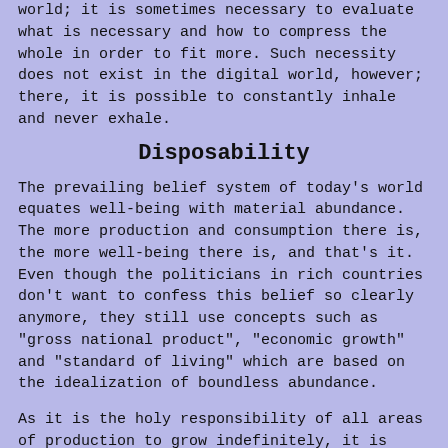world; it is sometimes necessary to evaluate what is necessary and how to compress the whole in order to fit more. Such necessity does not exist in the digital world, however; there, it is possible to constantly inhale and never exhale.
Disposability
The prevailing belief system of today's world equates well-being with material abundance. The more production and consumption there is, the more well-being there is, and that's it. Even though the politicians in rich countries don't want to confess this belief so clearly anymore, they still use concepts such as "gross national product", "economic growth" and "standard of living" which are based on the idealization of boundless abundance.
As it is the holy responsibility of all areas of production to grow indefinitely, it is important to increase consumption regardless of whether it is sensible or not. If it is not possible to increase the consumption in natural ways, planned obsolensce comes to rescue. Some decades ago, people bought washing machines